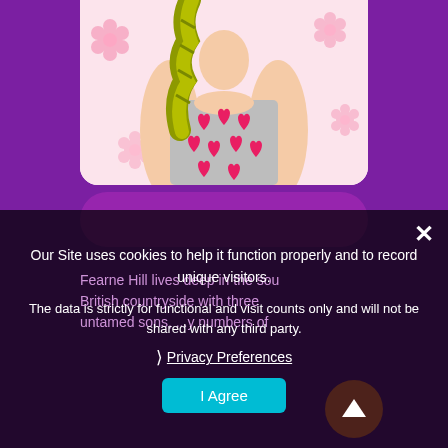[Figure (illustration): Cartoon illustration of a girl with braided olive/yellow hair wearing a grey top with red hearts pattern. Pink floral background. Shown from torso up.]
Our Site uses cookies to help it function properly and to record unique visitors.
The data is strictly for functional and visit counts only and will not be shared with any third party.
› Privacy Preferences
I Agree
Fearne Hill lives deep in the sou... British countryside with three untamed sons, ...y numbers of